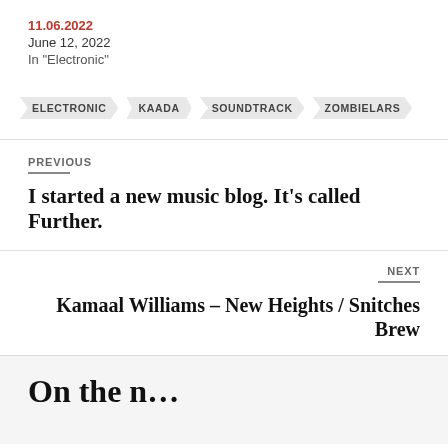11.06.2022
June 12, 2022
In "Electronic"
ELECTRONIC
KAADA
SOUNDTRACK
ZOMBIELARS
PREVIOUS
I started a new music blog. It’s called Further.
NEXT
Kamaal Williams – New Heights / Snitches Brew
On the n…